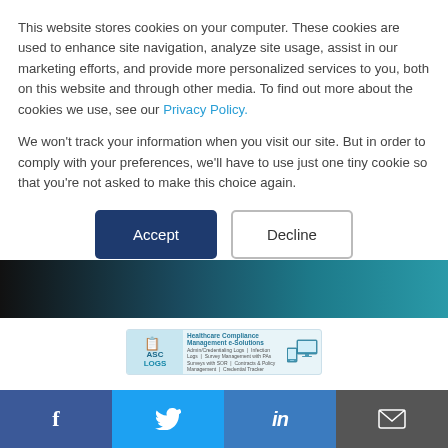This website stores cookies on your computer. These cookies are used to enhance site navigation, analyze site usage, assist in our marketing efforts, and provide more personalized services to you, both on this website and through other media. To find out more about the cookies we use, see our Privacy Policy.
We won't track your information when you visit our site. But in order to comply with your preferences, we'll have to use just one tiny cookie so that you're not asked to make this choice again.
[Figure (screenshot): Two buttons: a dark blue 'Accept' button and a white 'Decline' button with border]
[Figure (photo): Dark hero image bar with teal/blue gradient]
[Figure (screenshot): ASC LOGS Healthcare Compliance Management e-Solutions advertisement banner]
[Figure (infographic): Social media share bar with Facebook, Twitter, LinkedIn, and email icons]